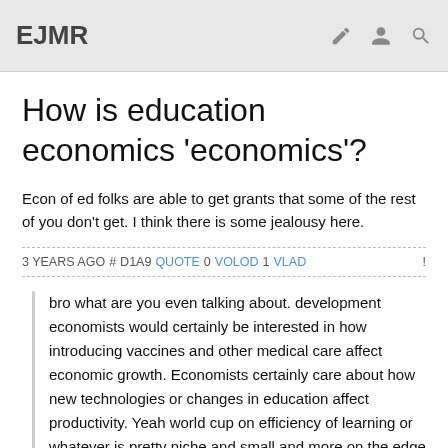EJMR
How is education economics 'economics'?
Econ of ed folks are able to get grants that some of the rest of you don't get. I think there is some jealousy here.
3 YEARS AGO # D1A9 QUOTE 0 VOLOD 1 VLAD
bro what are you even talking about. development economists would certainly be interested in how introducing vaccines and other medical care affect economic growth. Economists certainly care about how new technologies or changes in education affect productivity. Yeah world cup on efficiency of learning or whatever is pretty niche and small and more on the edge of econ, but its still econ.
Nice straw-man argument. No one disputes that what you said is economics, but what you said is not what I did. My examples were: analyze the effect of vaccines on health outcomes (if it works), analyze if a new software improves IT performance in a firm or if a new...